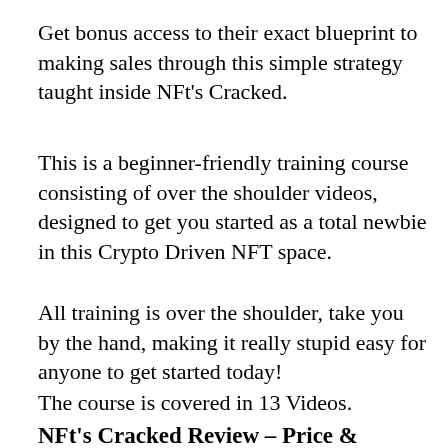Get bonus access to their exact blueprint to making sales through this simple strategy taught inside NFt's Cracked.
This is a beginner-friendly training course consisting of over the shoulder videos, designed to get you started as a total newbie in this Crypto Driven NFT space.
All training is over the shoulder, take you by the hand, making it really stupid easy for anyone to get started today!
The course is covered in 13 Videos.
NFt's Cracked Review – Price &